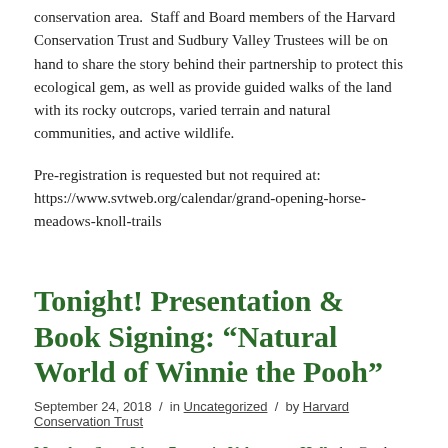conservation area.  Staff and Board members of the Harvard Conservation Trust and Sudbury Valley Trustees will be on hand to share the story behind their partnership to protect this ecological gem, as well as provide guided walks of the land with its rocky outcrops, varied terrain and natural communities, and active wildlife.
Pre-registration is requested but not required at: https://www.svtweb.org/calendar/grand-opening-horse-meadows-knoll-trails
Tonight! Presentation & Book Signing: “Natural World of Winnie the Pooh”
September 24, 2018 / in Uncategorized / by Harvard Conservation Trust
Monday, Sept. 24, at 7 p.m. in Volunteers Hall, the Garden